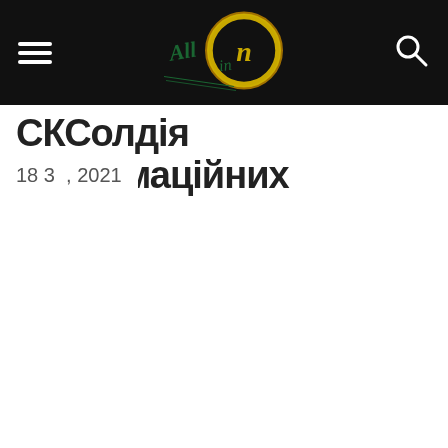All-in News (logo/navigation header)
СКСолдія Інформаційних
18 3 , 2021